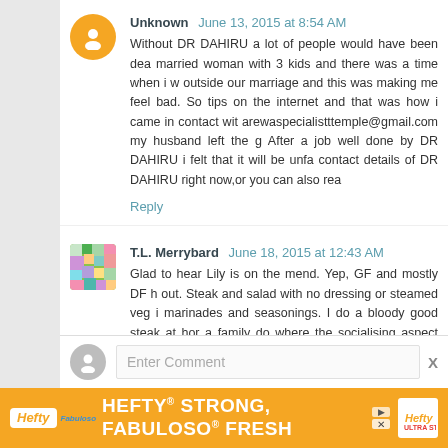Unknown   June 13, 2015 at 8:54 AM
Without DR DAHIRU a lot of people would have been dea... married woman with 3 kids and there was a time when i w... outside our marriage and this was making me feel bad. So... tips on the internet and that was how i came in contact wit... arewaspecialisttemple@gmail.com my husband left the g... After a job well done by DR DAHIRU i felt that it will be unfa... contact details of DR DAHIRU right now,or you can also rea...
Reply
T.L. Merrybard   June 18, 2015 at 12:43 AM
Glad to hear Lily is on the mend. Yep, GF and mostly DF h... out. Steak and salad with no dressing or steamed veg i... marinades and seasonings. I do a bloody good steak at ho... a family do where the socialising aspect makes it worthwh... day!
Reply
Enter Comment
[Figure (screenshot): Advertisement banner for Hefty and Fabuloso products showing orange background with white bold text 'HEFTY STRONG, FABULOSO FRESH']